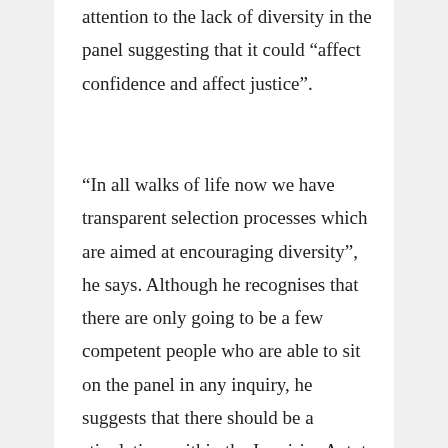attention to the lack of diversity in the panel suggesting that it could “affect confidence and affect justice”.
“In all walks of life now we have transparent selection processes which are aimed at encouraging diversity”, he says. Although he recognises that there are only going to be a few competent people who are able to sit on the panel in any inquiry, he suggests that there should be a stipulation, within the Inquiries Act, to require more transparency in this respect. “It’s very much left to the discretion of the minister”, he explains. “There